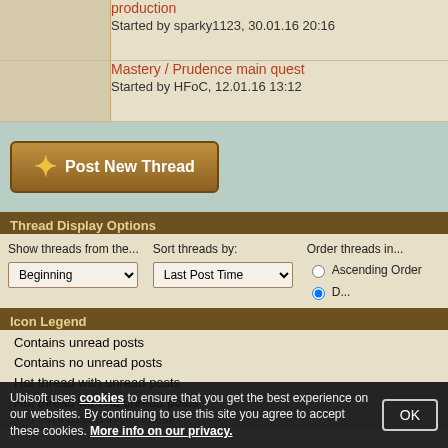|  | Thread |
| --- | --- |
|  | production
Started by sparky1123, 30.01.16 20:16 |
|  | Mastery / Prudence main quest
Started by HFoC, 12.01.16 13:12 |
[Figure (other): Post New Thread button with gold/brown gradient styling and plus icon]
Thread Display Options
Show threads from the... Beginning (dropdown) | Sort threads by: Last Post Time (dropdown) | Order threads in... Ascending Order (radio) | Descending Order (radio, selected)
Icon Legend
Contains unread posts
Contains no unread posts
Hot thread with unread posts
Hot thread with no unread posts
You have posted in this thread
Ubisoft uses cookies to ensure that you get the best experience on our websites. By continuing to use this site you agree to accept these cookies. More info on our privacy.